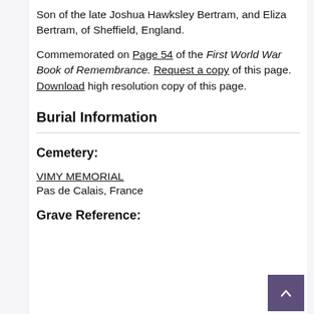Son of the late Joshua Hawksley Bertram, and Eliza Bertram, of Sheffield, England.
Commemorated on Page 54 of the First World War Book of Remembrance. Request a copy of this page. Download high resolution copy of this page.
Burial Information
Cemetery:
VIMY MEMORIAL
Pas de Calais, France
Grave Reference: